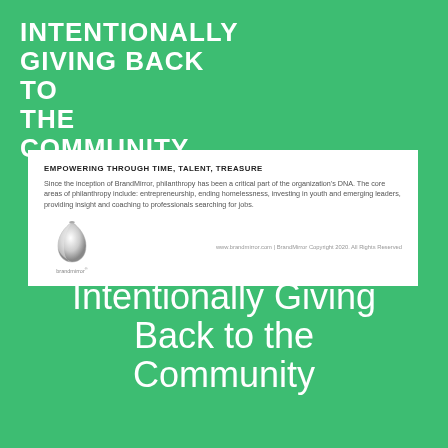INTENTIONALLY GIVING BACK TO THE COMMUNITY
EMPOWERING THROUGH TIME, TALENT, TREASURE
Since the inception of BrandMirror, philanthropy has been a critical part of the organization's DNA. The core areas of philanthropy include: entrepreneurship, ending homelessness, investing in youth and emerging leaders, providing insight and coaching to professionals searching for jobs.
[Figure (logo): BrandMirror logo: a stylized sphere/onion shape in grayscale]
brandmirror® · www.brandmirror.com | BrandMirror Copyright 2020. All Rights Reserved
Intentionally Giving Back to the Community